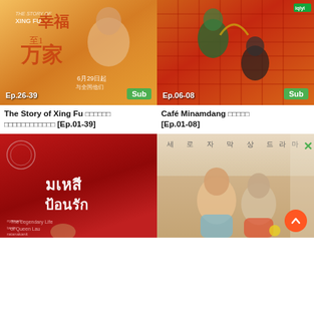[Figure (photo): Thumbnail for The Story of Xing Fu drama, showing a smiling woman with Chinese characters and text '6月29日起' and 'Ep.26-39' badge and 'Sub' badge]
[Figure (photo): Thumbnail for Café Minamdang drama, showing characters with fans and decorative background with 'Ep.06-08' badge and 'Sub' badge]
The Story of Xing Fu [Ep.01-39]
Café Minamdang [Ep.01-08]
[Figure (photo): Thumbnail for มเหสีป้อนรัก (The Legendary Life of Queen Lau) drama, red background with Thai title text]
[Figure (photo): Thumbnail for a Korean drama showing two young people looking at each other with Korean text at top]